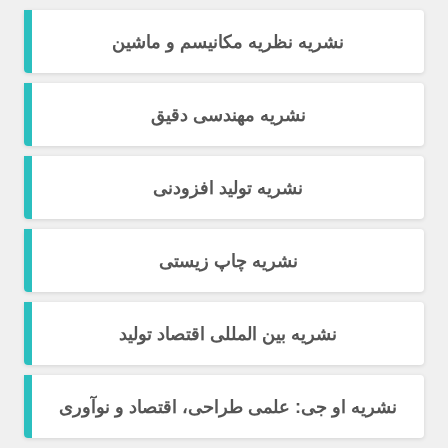نشریه نظریه مکانیسم و ماشین
نشریه مهندسی دقیق
نشریه تولید افزودنی
نشریه چاپ زیستی
نشریه بین المللی اقتصاد تولید
نشریه او جی: علمی طراحی، اقتصاد و نوآوری